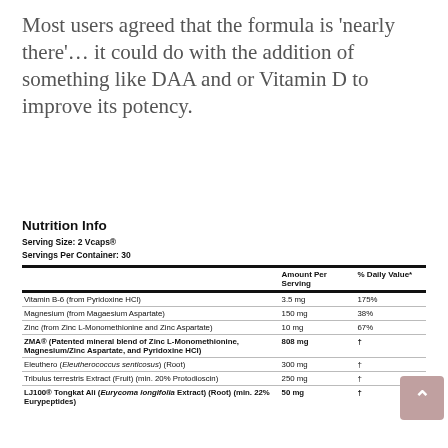Most users agreed that the formula is ‘nearly there’… it could do with the addition of something like DAA and or Vitamin D to improve its potency.
Nutrition Info
Serving Size: 2 Vcaps®
Servings Per Container: 30
|  | Amount Per Serving | % Daily Value* |
| --- | --- | --- |
| Vitamin B-6 (from Pyridoxine HCl) | 3.5 mg | 175% |
| Magnesium (from Magaesium Aspartate) | 150 mg | 38% |
| Zinc (from Zinc L-Monomethionine and Zinc Aspartate) | 10 mg | 67% |
| ZMA® (Patented mineral blend of Zinc L-Monomethionine, Magnesium/Zinc Aspartate, and Pyridoxine HCl) | 808 mg | † |
| Eleuthero (Eleutherococcus senticosus) (Root) | 300 mg | † |
| Tribulus terrestris Extract (Fruit) (min. 20% Protodioscin) | 250 mg | † |
| LJ100® Tongkat Ali (Eurycoma longifolia Extract) (Root) (min. 22% Eurypeptides) | 50 mg | † |